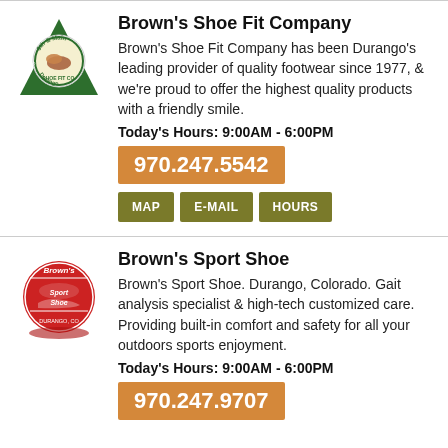[Figure (logo): Brown's Shoe Fit Company logo — green triangle with circular badge, '9th & Main' text, brown shoe icon]
Brown's Shoe Fit Company
Brown's Shoe Fit Company has been Durango's leading provider of quality footwear since 1977, & we're proud to offer the highest quality products with a friendly smile.
Today's Hours: 9:00AM - 6:00PM
970.247.5542
MAP   E-MAIL   HOURS
[Figure (logo): Brown's Sport Shoe logo — red circular badge with white text and shoe graphic]
Brown's Sport Shoe
Brown's Sport Shoe. Durango, Colorado. Gait analysis specialist & high-tech customized care. Providing built-in comfort and safety for all your outdoors sports enjoyment.
Today's Hours: 9:00AM - 6:00PM
970.247.9707